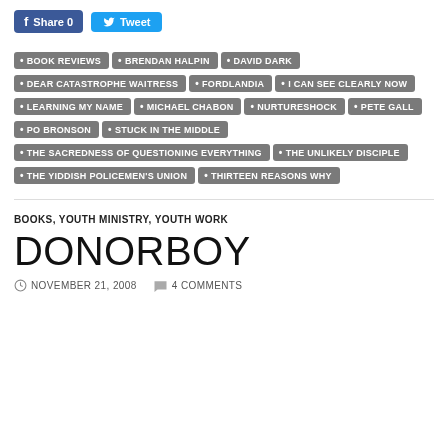[Figure (screenshot): Facebook Share button (blue) with count 0, and Twitter Tweet button (light blue)]
BOOK REVIEWS
BRENDAN HALPIN
DAVID DARK
DEAR CATASTROPHE WAITRESS
FORDLANDIA
I CAN SEE CLEARLY NOW
LEARNING MY NAME
MICHAEL CHABON
NURTURESHOCK
PETE GALL
PO BRONSON
STUCK IN THE MIDDLE
THE SACREDNESS OF QUESTIONING EVERYTHING
THE UNLIKELY DISCIPLE
THE YIDDISH POLICEMEN'S UNION
THIRTEEN REASONS WHY
BOOKS, YOUTH MINISTRY, YOUTH WORK
DONORBOY
NOVEMBER 21, 2008   4 COMMENTS